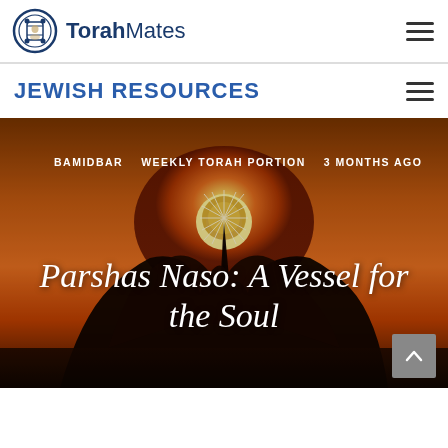Torah Mates
JEWISH RESOURCES
[Figure (photo): Hero image: silhouette of hands cupped around a dandelion against a warm orange sunset sky. Overlaid text tags: BAMIDBAR · WEEKLY TORAH PORTION · 3 MONTHS AGO. Large italic title text: Parshas Naso: A Vessel for the Soul.]
Parshas Naso: A Vessel for the Soul